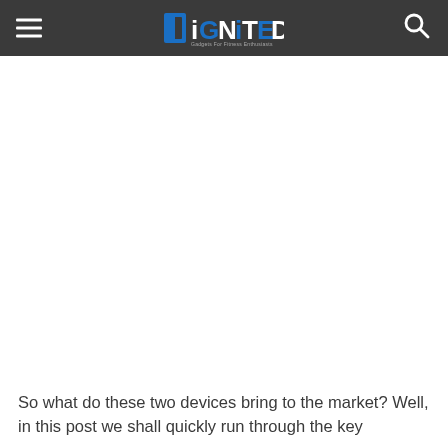DiGNiTED
So what do these two devices bring to the market? Well, in this post we shall quickly run through the key